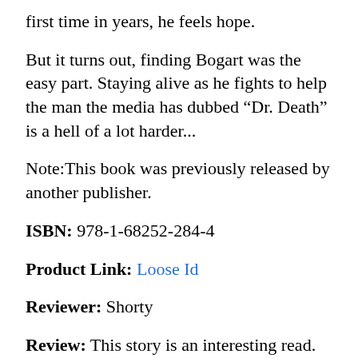first time in years, he feels hope.
But it turns out, finding Bogart was the easy part. Staying alive as he fights to help the man the media has dubbed “Dr. Death” is a hell of a lot harder...
Note:This book was previously released by another publisher.
ISBN: 978-1-68252-284-4
Product Link: Loose Id
Reviewer: Shorty
Review: This story is an interesting read.